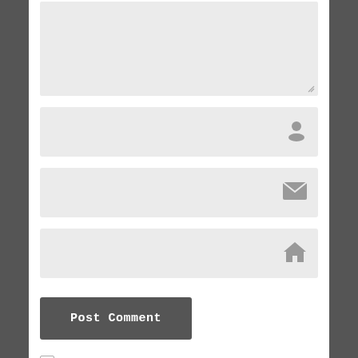[Figure (screenshot): Comment form with textarea, name field with user icon, email field with envelope icon, website field with house icon, Post Comment button, and two checkbox rows for email notifications]
Notify me of new comments via email.
Notify me of new posts via email.